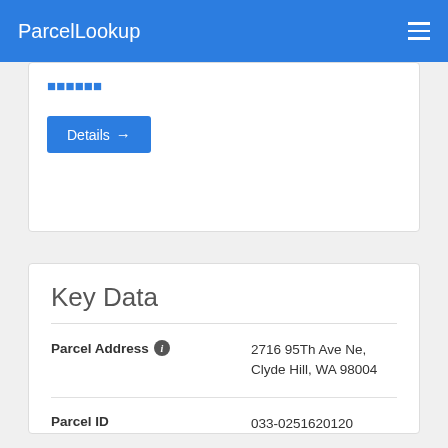ParcelLookup
[Figure (screenshot): Partial card with blue text title and Details button with arrow]
Key Data
| Field | Value |
| --- | --- |
| Parcel Address | 2716 95Th Ave Ne, Clyde Hill, WA 98004 |
| Parcel ID | 033-0251620120 |